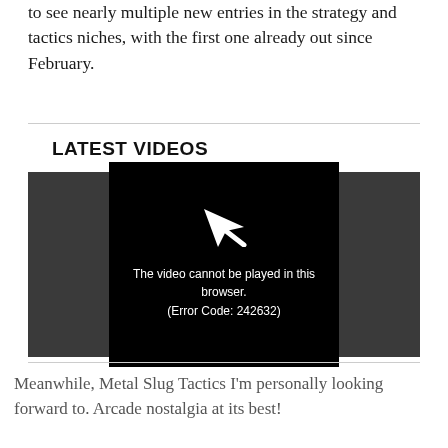to see nearly multiple new entries in the strategy and tactics niches, with the first one already out since February.
LATEST VIDEOS
[Figure (screenshot): Video player showing error message: The video cannot be played in this browser. (Error Code: 242632)]
Meanwhile, Metal Slug Tactics I'm personally looking forward to. Arcade nostalgia at its best!